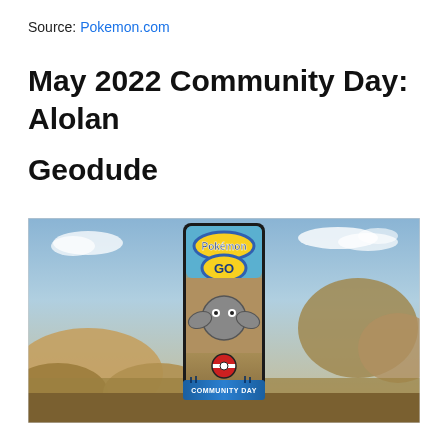Source: Pokemon.com
May 2022 Community Day: Alolan Geodude
[Figure (photo): Pokemon GO Community Day promotional image featuring Alolan Geodude, set against a rocky coastal landscape background. A smartphone mockup in the center displays the Pokemon GO logo at the top, an Alolan Geodude character in the middle, a red Pokeball, and a blue 'COMMUNITY DAY' banner at the bottom with silhouettes of people.]